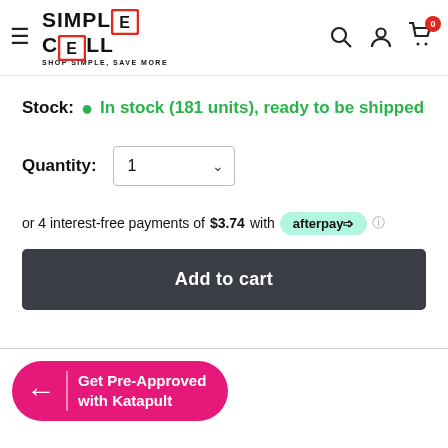[Figure (logo): Simple Cell logo with hamburger menu icon on left and search, account, cart icons on right]
Stock: In stock (181 units), ready to be shipped
Quantity: 1
or 4 interest-free payments of $3.74 with afterpay
Add to cart
[Figure (logo): Katapult Get Pre-Approved with Katapult banner button in pink]